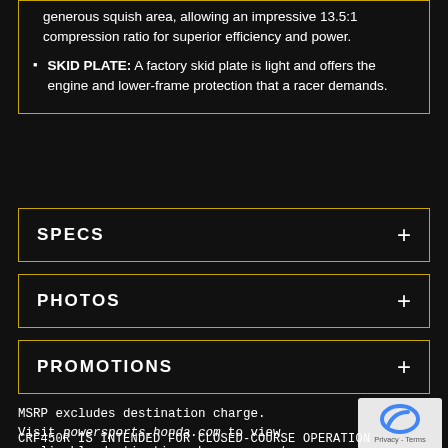generous squish area, allowing an impressive 13.5:1 compression ratio for superior efficiency and power.
SKID PLATE: A factory skid plate is light and offers the engine and lower-frame protection that a racer demands.
SPECS +
PHOTOS +
PROMOTIONS +
MSRP excludes destination charge.
Visit powersports.honda.com to view applicable destination charge amount.
CRF450R IS INTENDED FOR CLOSED-COURSE OPERATION